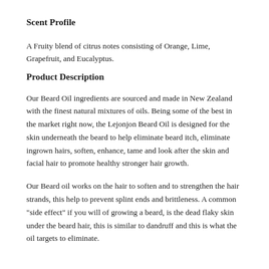Scent Profile
A Fruity blend of citrus notes consisting of Orange, Lime, Grapefruit, and Eucalyptus.
Product Description
Our Beard Oil ingredients are sourced and made in New Zealand with the finest natural mixtures of oils. Being some of the best in the market right now, the Lejonjon Beard Oil is designed for the skin underneath the beard to help eliminate beard itch, eliminate ingrown hairs, soften, enhance, tame and look after the skin and facial hair to promote healthy stronger hair growth.
Our Beard oil works on the hair to soften and to strengthen the hair strands, this help to prevent splint ends and brittleness. A common "side effect" if you will of growing a beard, is the dead flaky skin under the beard hair, this is similar to dandruff and this is what the oil targets to eliminate.